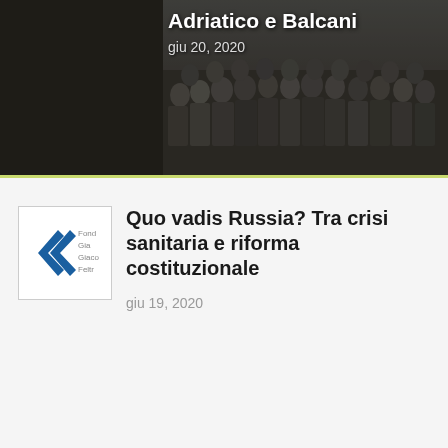[Figure (photo): Black and white historical photo of soldiers or military group, with overlaid title text 'Adriatico e Balcani' and date 'giu 20, 2020']
Adriatico e Balcani
giu 20, 2020
[Figure (logo): Fondazione Giangiacomo Feltrinelli logo — blue double chevron/arrow on white background with text 'Fonda Gian Feltri']
Quo vadis Russia? Tra crisi sanitaria e riforma costituzionale
giu 19, 2020
video
[Figure (photo): Close-up video thumbnail of a young soldier in camouflage gear drinking from a bottle, with a play button overlay and a red badge reading 'Pu Se' in the top right corner]